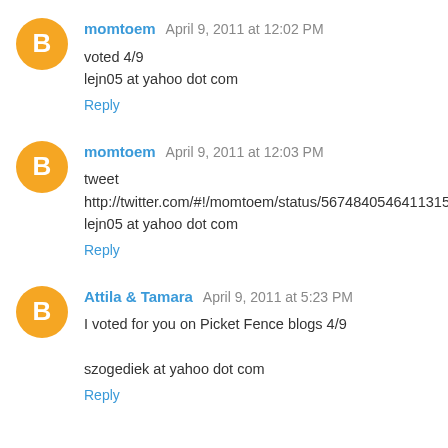momtoem April 9, 2011 at 12:02 PM
voted 4/9
lejn05 at yahoo dot com
Reply
momtoem April 9, 2011 at 12:03 PM
tweet
http://twitter.com/#!/momtoem/status/56748405464113152
lejn05 at yahoo dot com
Reply
Attila & Tamara April 9, 2011 at 5:23 PM
I voted for you on Picket Fence blogs 4/9

szogediek at yahoo dot com
Reply